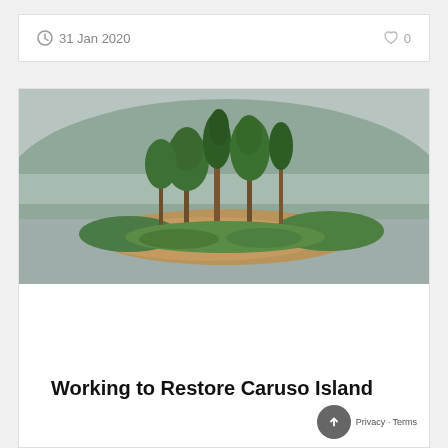31 Jan 2020   ♡ 0
[Figure (photo): A small island with tall conifer and deciduous trees surrounded by calm lake water, with a forested hillside in the misty background.]
Working to Restore Caruso Island
by Chip Wendler, vice president  During the summer months, it is hard to drive across the route 302 causeway without seeing someone taking a picture